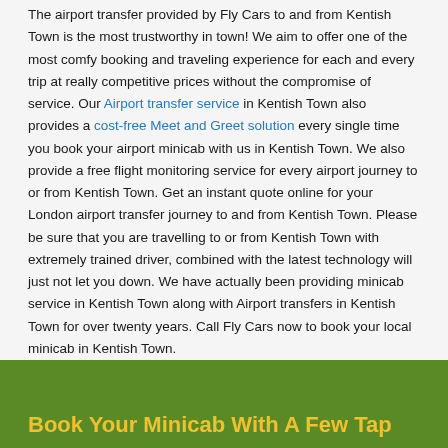The airport transfer provided by Fly Cars to and from Kentish Town is the most trustworthy in town! We aim to offer one of the most comfy booking and traveling experience for each and every trip at really competitive prices without the compromise of service. Our Airport transfer service in Kentish Town also provides a cost-free Meet and Greet solution every single time you book your airport minicab with us in Kentish Town. We also provide a free flight monitoring service for every airport journey to or from Kentish Town. Get an instant quote online for your London airport transfer journey to and from Kentish Town. Please be sure that you are travelling to or from Kentish Town with extremely trained driver, combined with the latest technology will just not let you down. We have actually been providing minicab service in Kentish Town along with Airport transfers in Kentish Town for over twenty years. Call Fly Cars now to book your local minicab in Kentish Town.
Book Your Minicab With A Few Tap